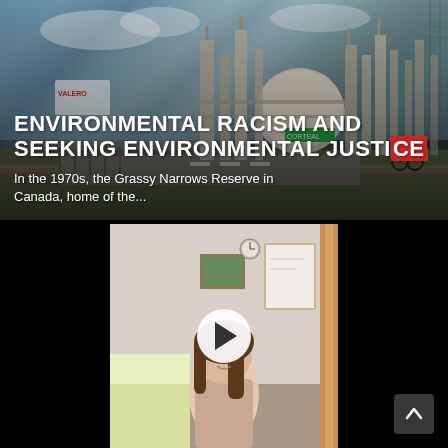[Figure (photo): Industrial oil refinery with tanks and towers under a blue sky, with a person on a bicycle in the foreground on a street. Text overlay reads 'ENVIRONMENTAL RACISM AND SEEKING ENVIRONMENTAL JUSTICE' with subtitle about Grassy Narrows Reserve in Canada.]
ENVIRONMENTAL RACISM AND SEEKING ENVIRONMENTAL JUSTICE
In the 1970s, the Grassy Narrows Reserve in Canada, home of the...
[Figure (screenshot): Video thumbnail showing a young woman/girl sitting in a bedroom, with a large white play button circle overlaid in the center.]